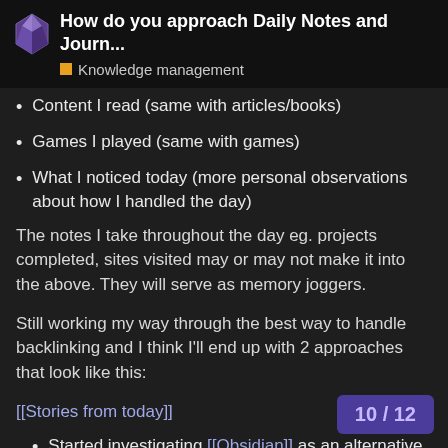How do you approach Daily Notes and Journ... | Knowledge management
Content I read (same with articles/books)
Games I played (same with games)
What I noticed today (more personal observations about how I handled the day)
The notes I take throughout the day eg. projects completed, sites visited may or may not make it into the above. They will serve as memory joggers.
Still working my way through the best way to handle backlinking and I think I'll end up with 2 approaches that look like this:
[[Stories from today]]
Started investigating [[Obsidian]] as an alternative to [[Roam Research]]
Caught up with [[Joe Bloggs]] fo
10 / 12